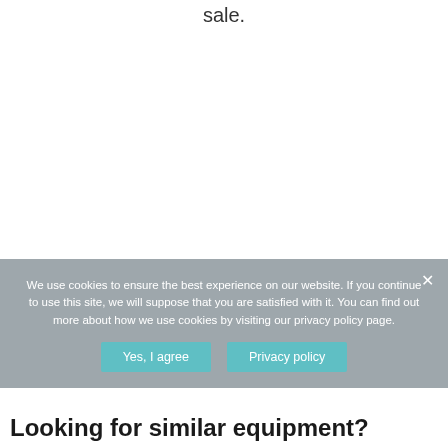sale.
We use cookies to ensure the best experience on our website. If you continue to use this site, we will suppose that you are satisfied with it. You can find out more about how we use cookies by visiting our privacy policy page.
Yes, I agree
Privacy policy
Looking for similar equipment?